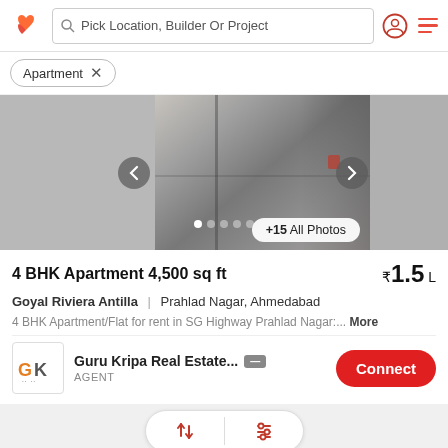[Figure (screenshot): App header with logo, search bar, user icon, menu icon]
Apartment ×
[Figure (photo): Apartment interior photo carousel with navigation arrows, dots, and +15 All Photos button]
4 BHK Apartment 4,500 sq ft
₹1.5 L
Goyal Riviera Antilla  |  Prahlad Nagar, Ahmedabad
4 BHK Apartment/Flat for rent in SG Highway Prahlad Nagar:... More
Guru Kripa Real Estate...  AGENT  Connect
[Figure (screenshot): Sort and filter pill buttons at bottom of listing]
[Figure (photo): Second property listing photo preview at bottom]